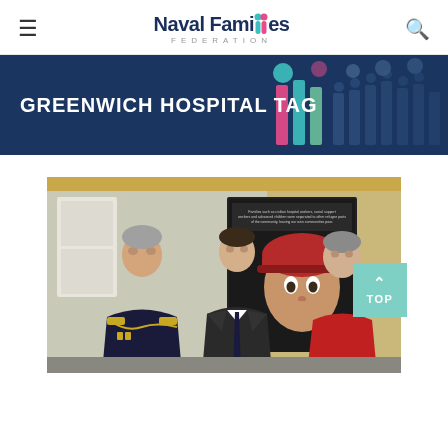Naval Families Federation
GREENWICH HOSPITAL TAG
[Figure (photo): Three people standing in front of an exhibition poster showing a child in a red hat. From left: a naval officer in dress uniform with gold braiding, a young man in a dark suit, and a woman in a red dress.]